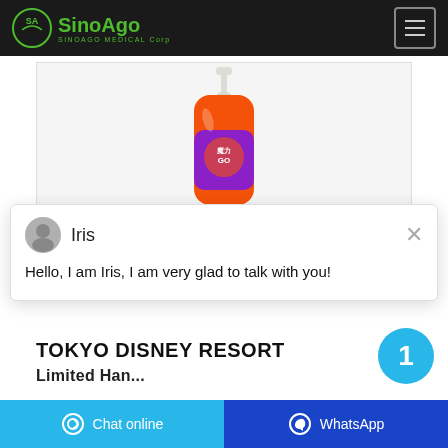SinoAgo SINOAGO MEDICAL Corp
[Figure (photo): Pump bottle of liquid hand soap product with orange/red body and white pump top, with a colorful label]
Iris
Hello, I am Iris, I am very glad to talk with you!
TOKYO DISNEY RESORT
Chat online  WhatsApp